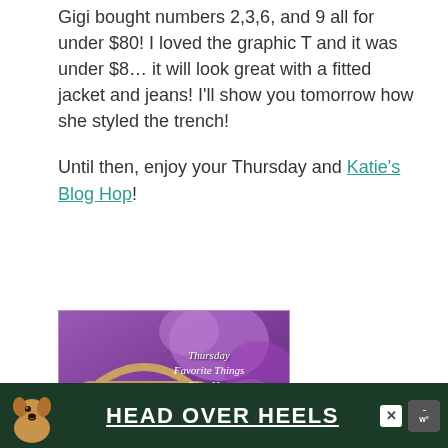Gigi bought numbers 2,3,6, and 9 all for under $80!  I loved the graphic T and it was under $8…  it will look great with a fitted jacket and jeans!  I'll show you tomorrow how she styled the trench!
Until then, enjoy your Thursday and Katie's Blog Hop!
[Figure (illustration): Thursday Favorite Things Blog Hop banner image showing a basket with flowers and a bow, with purple rhododendrons in the background and text overlay reading 'Thursday Favorite Things Blog Hop']
[Figure (infographic): Advertisement banner with dark green background showing a dog (appears to be a Chihuahua mix) on left and bold white underlined text 'HEAD OVER HEELS' in center, with a close button (X) and speaker icon on right]